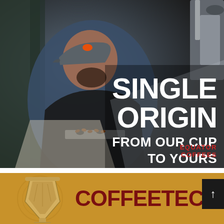[Figure (photo): A man wearing a blue long-sleeve shirt, dark apron, black gloves, and a grey trucker cap with an orange animal logo, inspecting coffee beans on a tray inside a coffee roasting facility with industrial equipment visible. Overlaid white bold text reads 'SINGLE ORIGIN FROM OUR CUP TO YOURS' with the Equator Coffees red logo and lion icon.]
[Figure (photo): Bottom banner ad with golden/tan background showing a coffee funnel/dripper device on the left and bold dark red text reading 'COFFEETEC.COM' with a small black scroll-up button on the right edge.]